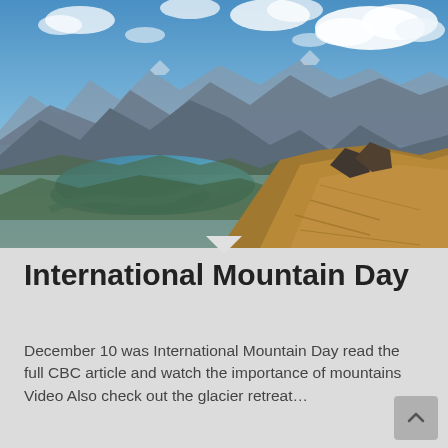[Figure (photo): Aerial mountain landscape panorama showing a winding turquoise lake (likely Banff area) nestled in a valley between rocky alpine mountains, with a steep brown rocky slope in the foreground right and blue sky with white clouds above.]
International Mountain Day
December 10 was International Mountain Day read the full CBC article and watch the importance of mountains Video Also check out the glacier retreat...